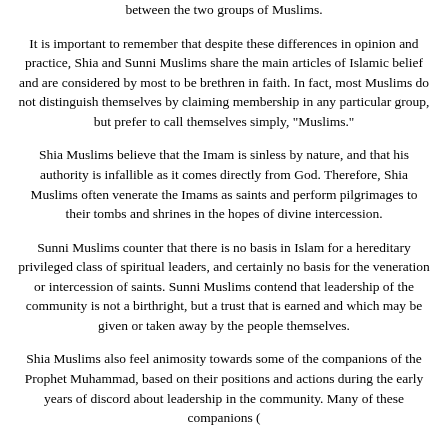between the two groups of Muslims.
It is important to remember that despite these differences in opinion and practice, Shia and Sunni Muslims share the main articles of Islamic belief and are considered by most to be brethren in faith. In fact, most Muslims do not distinguish themselves by claiming membership in any particular group, but prefer to call themselves simply, "Muslims."
Shia Muslims believe that the Imam is sinless by nature, and that his authority is infallible as it comes directly from God. Therefore, Shia Muslims often venerate the Imams as saints and perform pilgrimages to their tombs and shrines in the hopes of divine intercession.
Sunni Muslims counter that there is no basis in Islam for a hereditary privileged class of spiritual leaders, and certainly no basis for the veneration or intercession of saints. Sunni Muslims contend that leadership of the community is not a birthright, but a trust that is earned and which may be given or taken away by the people themselves.
Shia Muslims also feel animosity towards some of the companions of the Prophet Muhammad, based on their positions and actions during the early years of discord about leadership in the community. Many of these companions (